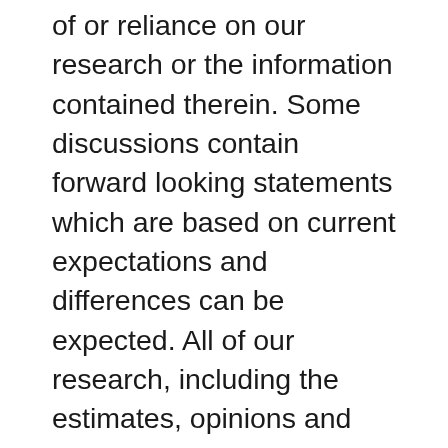of or reliance on our research or the information contained therein. Some discussions contain forward looking statements which are based on current expectations and differences can be expected. All of our research, including the estimates, opinions and information contained therein, reflects our judgment as of the publication or other dissemination date of the research and is subject to change without notice. Further, we expressly disclaim any responsibility to update such research. Investing involves substantial risk. Past performance is not a guarantee of future results, and a loss of original capital may occur. No one receiving or accessing our research should make any investment decision without first consulting his or her